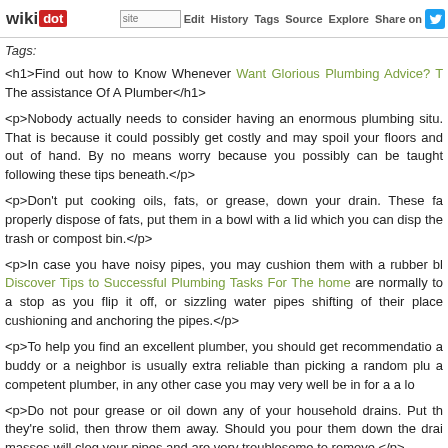wikidot | site | Edit | History | Tags | Source | Explore | Share on [Twitter]
Tags:
<h1>Find out how to Know Whenever Want Glorious Plumbing Advice? The assistance Of A Plumber</h1>
<p>Nobody actually needs to consider having an enormous plumbing situation. That is because it could possibly get costly and may spoil your floors and out of hand. By no means worry because you possibly can be taught following these tips beneath.</p>
<p>Don't put cooking oils, fats, or grease, down your drain. These fa properly dispose of fats, put them in a bowl with a lid which you can disp the trash or compost bin.</p>
<p>In case you have noisy pipes, you may cushion them with a rubber bl Discover Tips to Successful Plumbing Tasks For The home are normally to a stop as you flip it off, or sizzling water pipes shifting of their place cushioning and anchoring the pipes.</p>
<p>To help you find an excellent plumber, you should get recommendation a buddy or a neighbor is usually extra reliable than picking a random plu a competent plumber, in any other case you may very well be in for a a lo</p>
<p>Do not pour grease or oil down any of your household drains. Put th they're solid, then throw them away. Should you pour them down the drai masses will clog your pipes and are very troublesome to remove.</p>
<p>Obtained a leaky pipe? In lots of instances you may restore this yo Need Plumbing Help? Use This Nice Information! is leaking, tighten it wi</p>